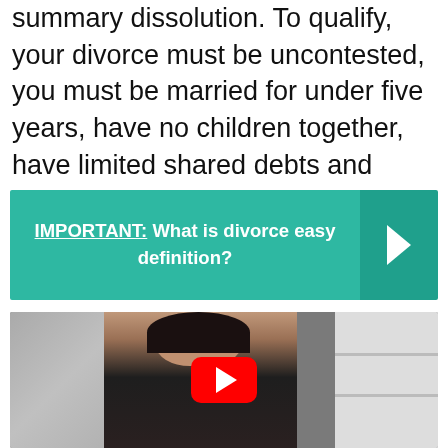summary dissolution. To qualify, your divorce must be uncontested, you must be married for under five years, have no children together, have limited shared debts and assets, and both agree to waive spousal support.
[Figure (infographic): Teal callout banner with bold white text reading 'IMPORTANT: What is divorce easy definition?' and a right-pointing chevron arrow on a darker teal background on the right side.]
[Figure (screenshot): Screenshot of a YouTube video thumbnail showing a woman sitting in an office/room setting with a red YouTube play button overlay in the center.]